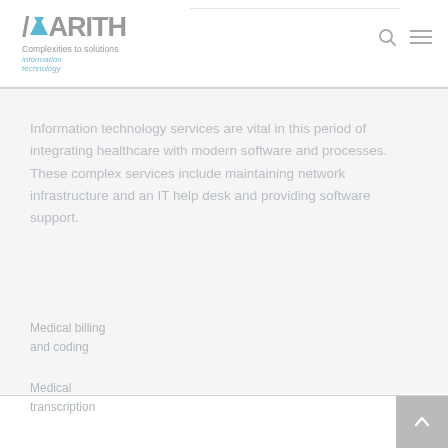MARITH — Complexities to solutions — information technology
Information technology services are vital in this period of integrating healthcare with modern software and processes. These complex services include maintaining network infrastructure and an IT help desk and providing software support.
Medical billing and coding
Medical transcription